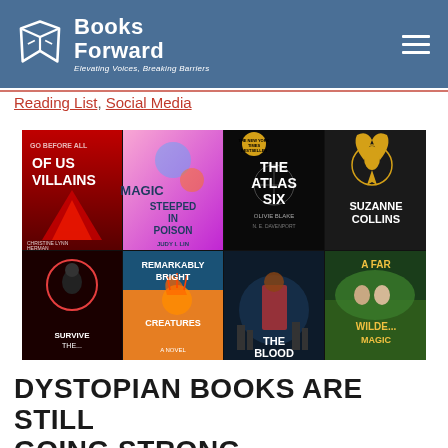Books Forward — Elevating Voices, Breaking Barriers
Reading List, Social Media
[Figure (photo): A collage of book covers including: The Atlas Six by Olivie Blake, Magic Steeped in Poison by Judy I. Lin, Remarkably Bright Creatures, a Hunger Games cover by Suzanne Collins, A Far Wilder Magic, The Blood (partially visible), and other YA/fiction titles arranged in a grid.]
DYSTOPIAN BOOKS ARE STILL GOING STRONG